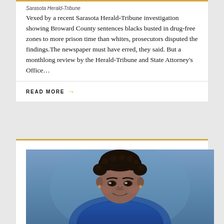Sarasota Herald-Tribune
Vexed by a recent Sarasota Herald-Tribune investigation showing Broward County sentences blacks busted in drug-free zones to more prison time than whites, prosecutors disputed the findings.The newspaper must have erred, they said. But a monthlong review by the Herald-Tribune and State Attorney's Office…
READ MORE →
[Figure (photo): Portrait photo of a woman with short dark curly hair, wearing a blue top, smiling, against a blue background]